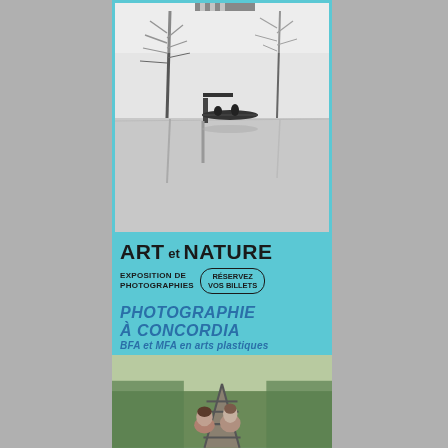[Figure (photo): Black and white photograph of a flooded landscape with bare trees reflected in still water and a wooden dock/pier structure with a boat]
ART et NATURE
EXPOSITION DE PHOTOGRAPHIES
RÉSERVEZ VOS BILLETS
PHOTOGRAPHIE À CONCORDIA
BFA et MFA en arts plastiques
[Figure (photo): Color photograph of two people (children/young women) sitting on railroad tracks looking into the distance, surrounded by greenery]